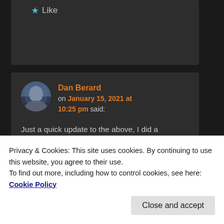Like
Dan Berard on January 15, 2021 at 10:25 pm said:
Just a quick update to the above, I did a measurement on my preamp with OPA129 and a 1G 1206 feedback resistor with a guard trace running underneath it. I got about 4.5 kHz bandwidth with very
Privacy & Cookies: This site uses cookies. By continuing to use this website, you agree to their use.
To find out more, including how to control cookies, see here: Cookie Policy
Close and accept